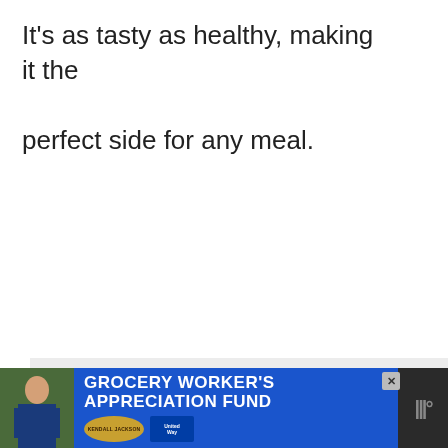It's as tasty as healthy, making it the perfect side for any meal.
[Figure (screenshot): Social media UI elements: heart/like button (teal circle with heart icon), like count '4', share button (circle with share icon), 'WHAT'S NEXT' panel with thumbnail and text 'What to Serve with Char Si...']
[Figure (screenshot): Advertisement banner: 'GROCERY WORKER'S APPRECIATION FUND' with Kendall Jackson and United Way logos, on dark background with person in grocery store image]